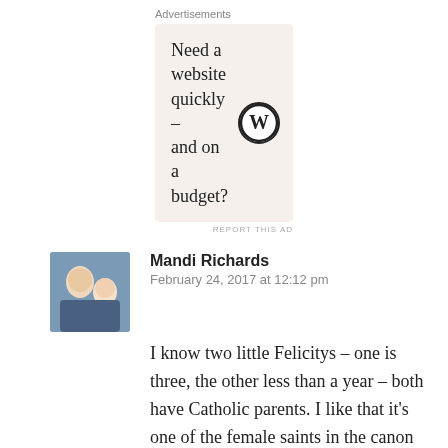Advertisements
[Figure (other): WordPress advertisement banner with text 'Need a website quickly – and on a budget?' and WordPress logo]
REPORT THIS AD
[Figure (photo): Avatar photo of Mandi Richards, showing a woman with a child]
Mandi Richards
February 24, 2017 at 12:12 pm
I know two little Felicitys – one is three, the other less than a year – both have Catholic parents. I like that it's one of the female saints in the canon (like my Lucia -Lucy- and our chosen name for a future girl, Cecilia).
Liked by 3 people
Reply
[Figure (photo): Avatar for sanctanomina showing roses]
sanctanomina